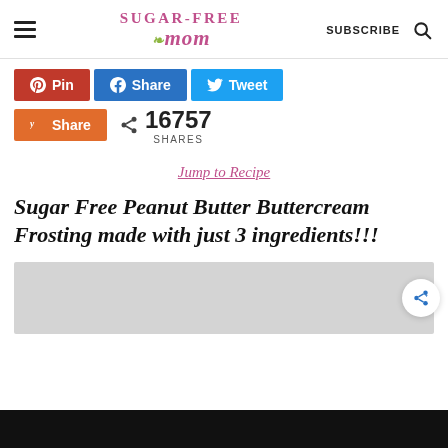Sugar-Free Mom — SUBSCRIBE [search icon]
[Figure (screenshot): Social share buttons: Pinterest Pin (red), Facebook Share (blue), Twitter Tweet (light blue), Yummly Share (orange); share count: 16757 SHARES]
Jump to Recipe
Sugar Free Peanut Butter Buttercream Frosting made with just 3 ingredients!!!
[Figure (photo): Light gray placeholder image area, partially visible]